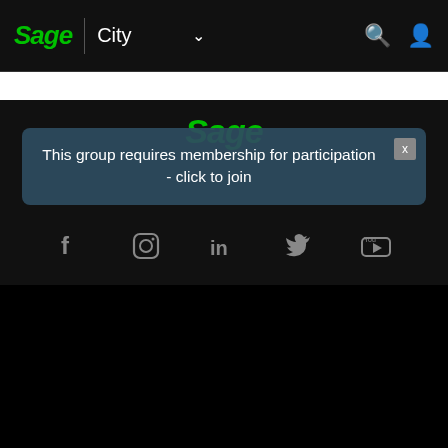Sage | City
[Figure (screenshot): Sage City website screenshot showing navigation bar with Sage logo, City label, search and user icons]
This group requires membership for participation - click to join
[Figure (infographic): Social media icons: Facebook, Instagram, LinkedIn, Twitter, YouTube]
SUPPORT & TRAINING
Sage Knowledgebase
Sage Advice Blog
Sage University
PARTNERS
Sage Partner Program
Partner Hub
Developers & ISVs
Sage Marketplace